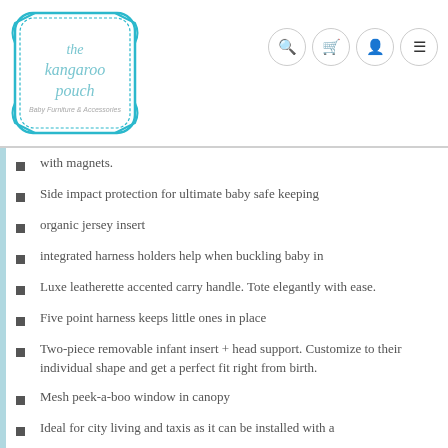the kangaroo pouch — Baby Furniture & Accessories
with magnets.
Side impact protection for ultimate baby safe keeping
organic jersey insert
integrated harness holders help when buckling baby in
Luxe leatherette accented carry handle. Tote elegantly with ease.
Five point harness keeps little ones in place
Two-piece removable infant insert + head support. Customize to their individual shape and get a perfect fit right from birth.
Mesh peek-a-boo window in canopy
Ideal for city living and taxis as it can be installed with a